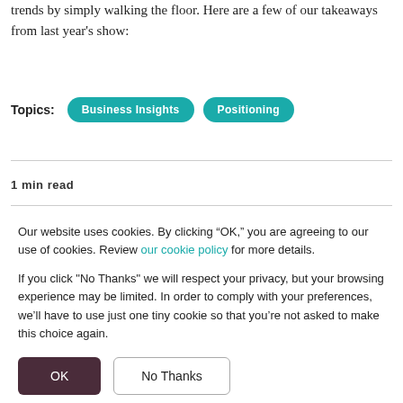trends by simply walking the floor. Here are a few of our takeaways from last year's show:
Topics: Business Insights  Positioning
1 min read
Our website uses cookies. By clicking “OK,” you are agreeing to our use of cookies. Review our cookie policy for more details.

If you click "No Thanks" we will respect your privacy, but your browsing experience may be limited. In order to comply with your preferences, we’ll have to use just one tiny cookie so that you’re not asked to make this choice again.